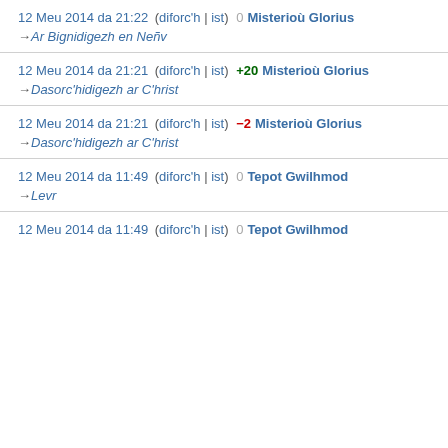12 Meu 2014 da 21:22  (diforc'h | ist)  0  Misterioù Glorius → Ar Bignidigezh en Neñv
12 Meu 2014 da 21:21  (diforc'h | ist)  +20  Misterioù Glorius → Dasorc'hidigezh ar C'hrist
12 Meu 2014 da 21:21  (diforc'h | ist)  −2  Misterioù Glorius → Dasorc'hidigezh ar C'hrist
12 Meu 2014 da 11:49  (diforc'h | ist)  0  Tepot Gwilhmod → Levr
12 Meu 2014 da 11:49  (diforc'h | ist)  0  Tepot Gwilhmod